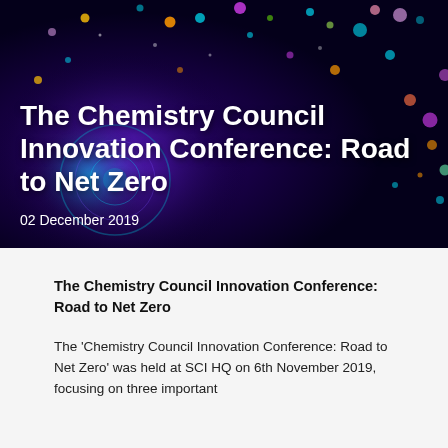[Figure (illustration): Dark navy/purple background with colorful bokeh dots and particles in cyan, orange, magenta, and green, with a glowing purple/teal spiral or circular structure on the left side. Overlaid white text reading 'The Chemistry Council Innovation Conference: Road to Net Zero' and date '02 December 2019'.]
The Chemistry Council Innovation Conference: Road to Net Zero
The 'Chemistry Council Innovation Conference: Road to Net Zero' was held at SCI HQ on 6th November 2019, focusing on three important